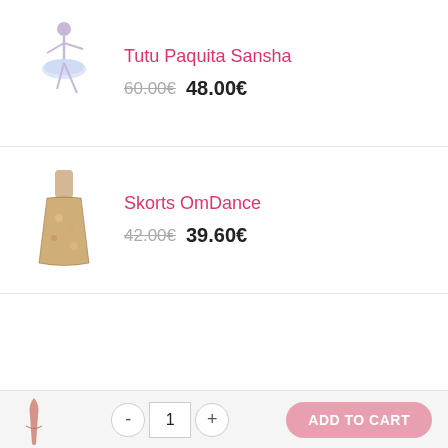[Figure (illustration): Ballet dancer in blue tutu illustration]
Tutu Paquita Sansha
60.00€  48.00€
[Figure (illustration): Floral skirt/dress illustration]
Skorts OmDance
42.00€  39.60€
CONTACT
Forme OÜ - Evelily
Tel +372 600 7060
Email: hello@evelily.com
Address: Rävala 8, C311 Tallinn 10143, Estonia